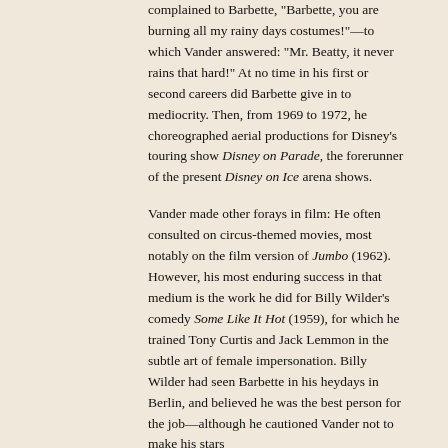complained to Barbette, "Barbette, you are burning all my rainy days costumes!"—to which Vander answered: "Mr. Beatty, it never rains that hard!" At no time in his first or second careers did Barbette give in to mediocrity. Then, from 1969 to 1972, he choreographed aerial productions for Disney's touring show Disney on Parade, the forerunner of the present Disney on Ice arena shows.
Vander made other forays in film: He often consulted on circus-themed movies, most notably on the film version of Jumbo (1962). However, his most enduring success in that medium is the work he did for Billy Wilder's comedy Some Like It Hot (1959), for which he trained Tony Curtis and Jack Lemmon in the subtle art of female impersonation. Billy Wilder had seen Barbette in his heydays in Berlin, and believed he was the best person for the job—although he cautioned Vander not to make his stars...